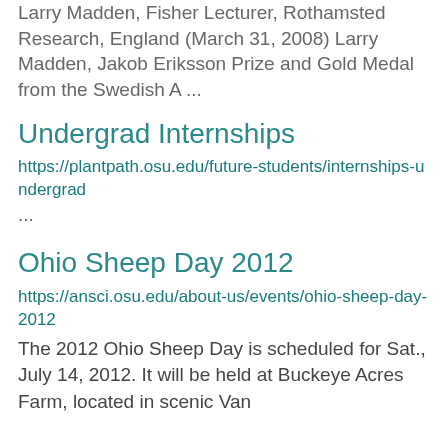Larry Madden, Fisher Lecturer, Rothamsted Research, England (March 31, 2008) Larry Madden, Jakob Eriksson Prize and Gold Medal from the Swedish A ...
Undergrad Internships
https://plantpath.osu.edu/future-students/internships-undergrad
...
Ohio Sheep Day 2012
https://ansci.osu.edu/about-us/events/ohio-sheep-day-2012
The 2012 Ohio Sheep Day is scheduled for Sat., July 14, 2012. It will be held at Buckeye Acres Farm, located in scenic Van